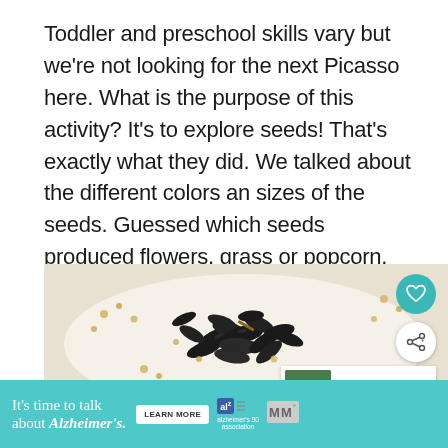Toddler and preschool skills vary but we're not looking for the next Picasso here. What is the purpose of this activity? It's to explore seeds! That's exactly what they did. We talked about the different colors an sizes of the seeds. Guessed which seeds produced flowers, grass or popcorn.
[Figure (photo): Close-up photo of mixed seeds including black sunflower seeds and small yellow/beige seeds scattered on a white surface, with social media action buttons (heart/favorite and share) overlaid on the right side, and a 'What's Next: Planting Seeds in...' card in the bottom right corner.]
It's time to talk about Alzheimer's.